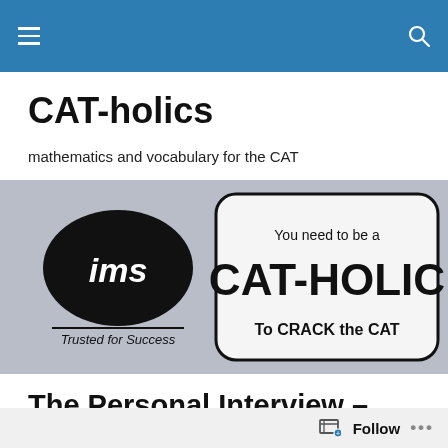CAT-holics navigation bar
CAT-holics
mathematics and vocabulary for the CAT
[Figure (logo): IMS Trusted for Success logo on grey brick background with CAT-HOLIC branded badge reading 'You need to be a CAT-HOLIC To CRACK the CAT']
The Personal Interview – Hobbies and Interests
Another popular question which you should be ready to answer is: What are your hobbies and interests?